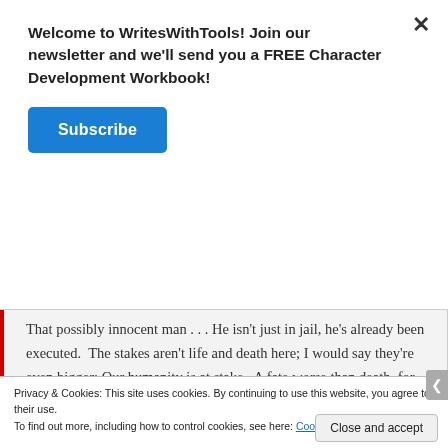Welcome to WritesWithTools! Join our newsletter and we'll send you a FREE Character Development Workbook!
Subscribe
That possibly innocent man . . . He isn't just in jail, he's already been executed.  The stakes aren't life and death here; I would say they're even bigger: Our humanity is at stake.  A fate worse than death, for society as a whole, is at stake.  Goosebumps.
Privacy & Cookies: This site uses cookies. By continuing to use this website, you agree to their use.
To find out more, including how to control cookies, see here: Cookie Policy
Close and accept